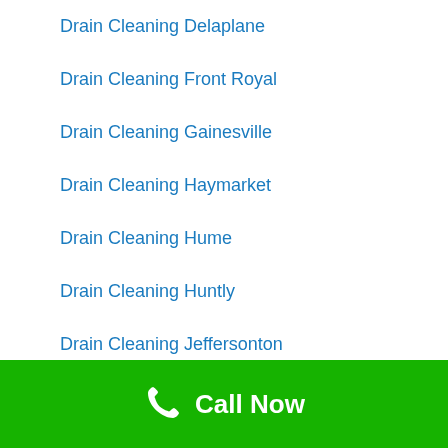Drain Cleaning Delaplane
Drain Cleaning Front Royal
Drain Cleaning Gainesville
Drain Cleaning Haymarket
Drain Cleaning Hume
Drain Cleaning Huntly
Drain Cleaning Jeffersonton
Drain Cleaning Linden
Drain Cleaning Manassas
Call Now